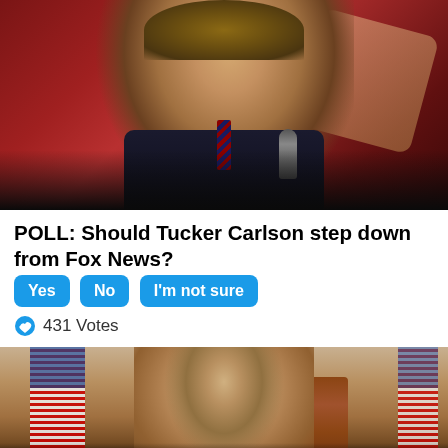[Figure (photo): A man in a dark suit holding a microphone, speaking at an event with a red/orange blurred background]
POLL: Should Tucker Carlson step down from Fox News?
Yes   No   I'm not sure
431 Votes
[Figure (photo): An elderly man in a suit, partially visible, standing in front of American flags and a wooden backdrop]